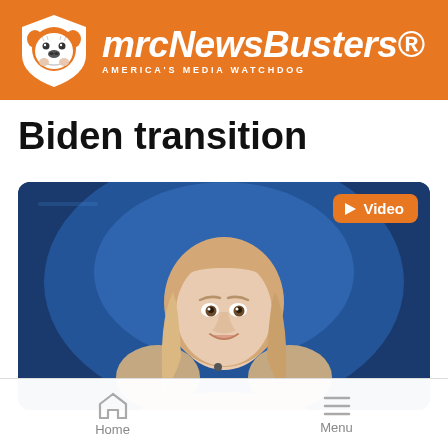mrcNewsBusters® AMERICA'S MEDIA WATCHDOG
Biden transition
[Figure (screenshot): Video thumbnail showing a blonde woman in a tan top seated in front of a blue studio background, with an orange 'Video' badge in the top-right corner of the thumbnail.]
Home   Menu